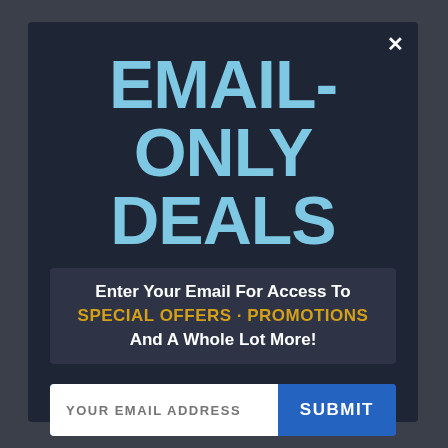EMAIL-ONLY DEALS
Enter Your Email For Access To SPECIAL OFFERS · PROMOTIONS And A Whole Lot More!
YOUR EMAIL ADDRESS
SUBMIT
Crown Awards